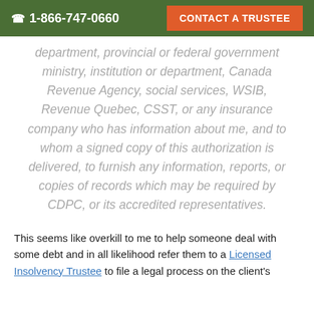1-866-747-0660  CONTACT A TRUSTEE
department, provincial or federal government ministry, institution or department, Canada Revenue Agency, social services, WSIB, Revenue Quebec, CSST, or any insurance company who has information about me, and to whom a signed copy of this authorization is delivered, to furnish any information, reports, or copies of records which may be required by CDPC, or its accredited representatives.
This seems like overkill to me to help someone deal with some debt and in all likelihood refer them to a Licensed Insolvency Trustee to file a legal process on the client's